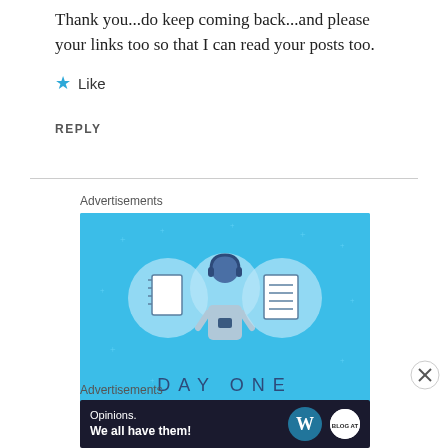Thank you...do keep coming back...and please your links too so that I can read your posts too.
[Figure (other): Like button with blue star icon and 'Like' text]
REPLY
[Figure (other): Day One app advertisement banner with blue background, illustration of person with notebook/journal icons and 'DAY ONE' text]
Advertisements
[Figure (other): WordPress advertisement: 'Opinions. We all have them!' with WordPress and blog logo on dark navy background]
Advertisements